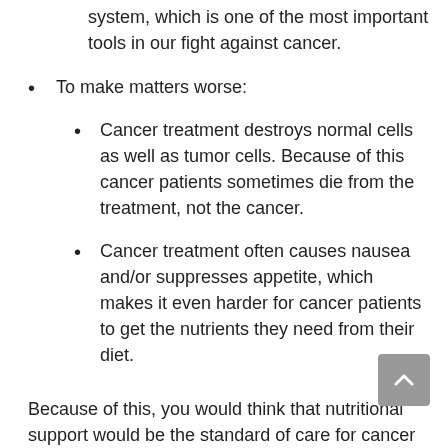system, which is one of the most important tools in our fight against cancer.
To make matters worse:
Cancer treatment destroys normal cells as well as tumor cells. Because of this cancer patients sometimes die from the treatment, not the cancer.
Cancer treatment often causes nausea and/or suppresses appetite, which makes it even harder for cancer patients to get the nutrients they need from their diet.
Because of this, you would think that nutritional support would be the standard of care for cancer patients, but it isn't. Because of fears that nutritional